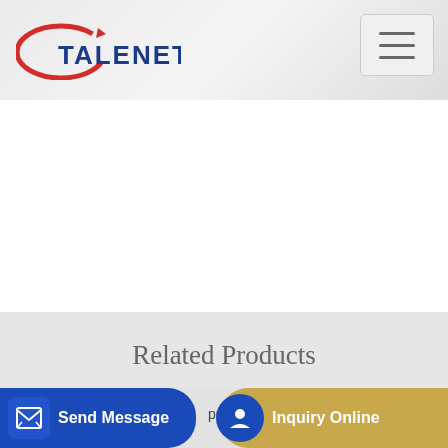TALENET
[Figure (logo): Talenet logo with red ellipse and dark blue bold text TALENET]
Related Products
cheap not used mobile concrete batching plant us
Concrete Line Pump Hire in Cooloola Cove QLD
Send Message   pump   Inquiry Online